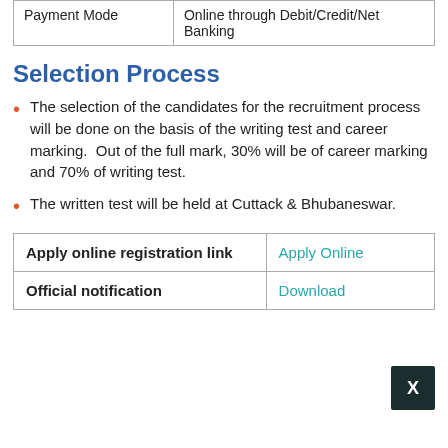| Payment Mode | Online through Debit/Credit/Net Banking |
Selection Process
The selection of the candidates for the recruitment process will be done on the basis of the writing test and career marking. Out of the full mark, 30% will be of career marking and 70% of writing test.
The written test will be held at Cuttack & Bhubaneswar.
| Apply online registration link | Apply Online |
| Official notification | Download |